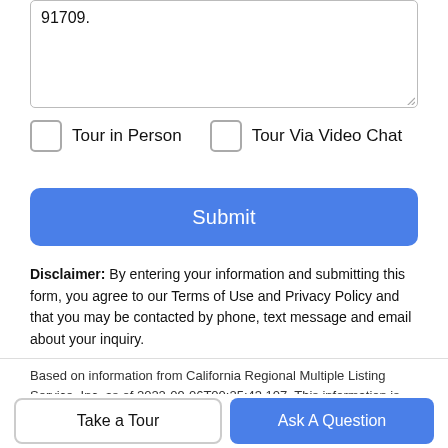91709.
Tour in Person   Tour Via Video Chat
Submit
Disclaimer: By entering your information and submitting this form, you agree to our Terms of Use and Privacy Policy and that you may be contacted by phone, text message and email about your inquiry.
Based on information from California Regional Multiple Listing Service, Inc. as of 2022-09-06T00:25:43.107. This information is for your personal, non-commercial use and may not be used for any purpose other than to identify prospective properties you may be interested in purchasing.
Take a Tour
Ask A Question